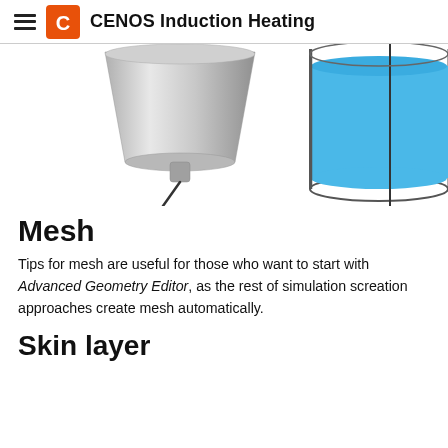CENOS Induction Heating
[Figure (illustration): Two engineering illustrations side by side: left shows a metallic tapered induction coil/workpiece component in grey, right shows a cylindrical container (crucible) with blue liquid fill and a vertical cross-section line.]
Mesh
Tips for mesh are useful for those who want to start with Advanced Geometry Editor, as the rest of simulation screation approaches create mesh automatically.
Skin layer